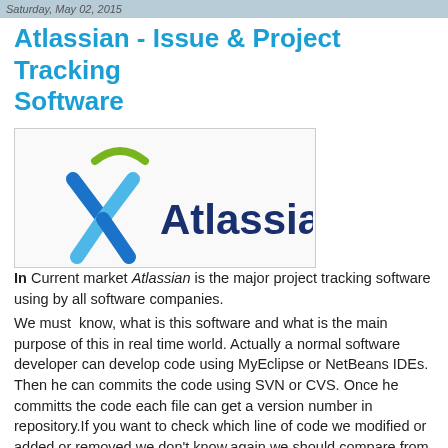Saturday, May 02, 2015
Atlassian - Issue & Project Tracking Software
[Figure (logo): Atlassian logo with blue figure and green arc above, followed by dark blue 'Atlassian' text]
In Current market Atlassian is the major project tracking software using by all software companies. We must know, what is this software and what is the main purpose of this in real time world. Actually a normal software developer can develop code using MyEclipse or NetBeans IDEs. Then he can commits the code using SVN or CVS. Once he committs the code each file can get a version number in repository.If you want to check which line of code we modified or added or removed we don't know.again we should compare from history. But in Atlassin fisheye we can find all the changes you committed and which line deleted and which line committed, we can find easily with colors. Atlassian reduces developer efforts and reduces time all the things automated by atlassian once the code committed to